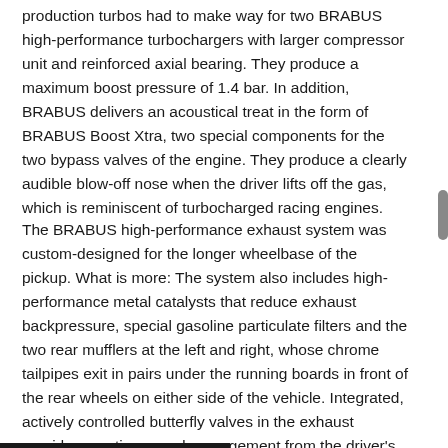production turbos had to make way for two BRABUS high-performance turbochargers with larger compressor unit and reinforced axial bearing. They produce a maximum boost pressure of 1.4 bar. In addition, BRABUS delivers an acoustical treat in the form of BRABUS Boost Xtra, two special components for the two bypass valves of the engine. They produce a clearly audible blow-off nose when the driver lifts off the gas, which is reminiscent of turbocharged racing engines.
The BRABUS high-performance exhaust system was custom-designed for the longer wheelbase of the pickup. What is more: The system also includes high-performance metal catalysts that reduce exhaust backpressure, special gasoline particulate filters and the two rear mufflers at the left and right, whose chrome tailpipes exit in pairs under the running boards in front of the rear wheels on either side of the vehicle. Integrated, actively controlled butterfly valves in the exhaust provide an active sound management from the driver's seat. In the open position, the BRABUS high-end engine produces a